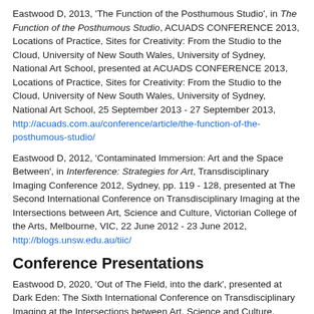Eastwood D, 2013, 'The Function of the Posthumous Studio', in The Function of the Posthumous Studio, ACUADS CONFERENCE 2013, Locations of Practice, Sites for Creativity: From the Studio to the Cloud, University of New South Wales, University of Sydney, National Art School, presented at ACUADS CONFERENCE 2013, Locations of Practice, Sites for Creativity: From the Studio to the Cloud, University of New South Wales, University of Sydney, National Art School, 25 September 2013 - 27 September 2013, http://acuads.com.au/conference/article/the-function-of-the-posthumous-studio/
Eastwood D, 2012, 'Contaminated Immersion: Art and the Space Between', in Interference: Strategies for Art, Transdisciplinary Imaging Conference 2012, Sydney, pp. 119 - 128, presented at The Second International Conference on Transdisciplinary Imaging at the Intersections between Art, Science and Culture, Victorian College of the Arts, Melbourne, VIC, 22 June 2012 - 23 June 2012, http://blogs.unsw.edu.au/tiic/
Conference Presentations
Eastwood D, 2020, 'Out of The Field, into the dark', presented at Dark Eden: The Sixth International Conference on Transdisciplinary Imaging at the Intersections between Art, Science and Culture, UNSW Art & Design, Sydney, 06 November 2020 - 08 November 2020, https://blogs.unsw.edu.au/tiic/dark-eden-program/
Eastwood D, 2019, 'Artistic Encounters via the Posthumous Studio'